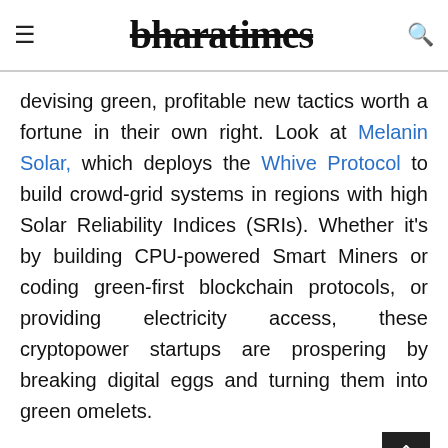bharatimes
devising green, profitable new tactics worth a fortune in their own right. Look at Melanin Solar, which deploys the Whive Protocol to build crowd-grid systems in regions with high Solar Reliability Indices (SRIs). Whether it's by building CPU-powered Smart Miners or coding green-first blockchain protocols, or providing electricity access, these cryptopower startups are prospering by breaking digital eggs and turning them into green omelets.
Galaxy Digital indicates a substantial part of